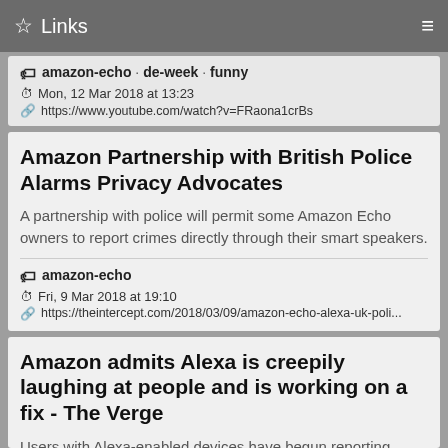Links
amazon-echo · de-week · funny
Mon, 12 Mar 2018 at 13:23
https://www.youtube.com/watch?v=FRaona1crBs
Amazon Partnership with British Police Alarms Privacy Advocates
A partnership with police will permit some Amazon Echo owners to report crimes directly through their smart speakers.
amazon-echo
Fri, 9 Mar 2018 at 19:10
https://theintercept.com/2018/03/09/amazon-echo-alexa-uk-poli...
Amazon admits Alexa is creepily laughing at people and is working on a fix - The Verge
Users with Alexa-enabled devices have begun reporting hearing strange, unprompted laughter.